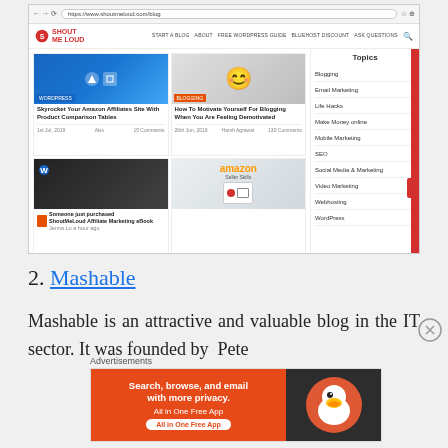[Figure (screenshot): Screenshot of ShoutMeLoud blog website showing navigation, article cards about Amazon Affiliates and blogging motivation, Topics sidebar with categories like Blogging, Email Marketing, Life Hacks, Make Money online, Mobile Marketing, SEO, Social Media & Marketing, Video Marketing, Webhosting, WordPress]
2. Mashable
Mashable is an attractive and valuable blog in the IT sector. It was founded by Pete
Advertisements
[Figure (screenshot): DuckDuckGo advertisement banner: Search, browse, and email with more privacy. All in One Free App]